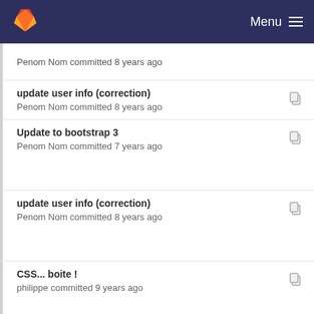GitLab — Menu
Penom Nom committed 8 years ago
update user info (correction)
Penom Nom committed 8 years ago
Update to bootstrap 3
Penom Nom committed 7 years ago
update user info (correction)
Penom Nom committed 8 years ago
CSS... boite !
philippe committed 9 years ago
add comments support for project, run and analyses
Penom Nom committed 7 years ago